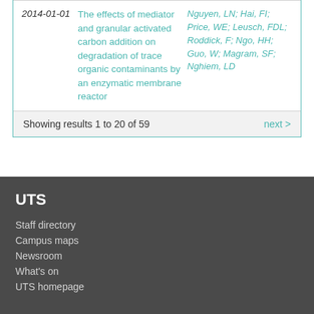| Date | Title | Authors |
| --- | --- | --- |
| 2014-01-01 | The effects of mediator and granular activated carbon addition on degradation of trace organic contaminants by an enzymatic membrane reactor | Nguyen, LN; Hai, FI; Price, WE; Leusch, FDL; Roddick, F; Ngo, HH; Guo, W; Magram, SF; Nghiem, LD |
Showing results 1 to 20 of 59
next >
UTS
Staff directory
Campus maps
Newsroom
What's on
UTS homepage